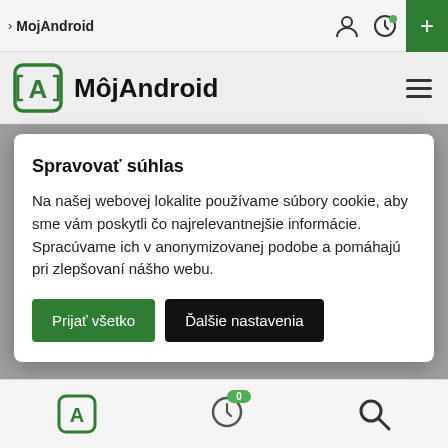> MojAndroid
[Figure (screenshot): MôjAndroid website header with green A logo icon and hamburger menu]
Spravovať súhlas
Na našej webovej lokalite používame súbory cookie, aby sme vám poskytli čo najrelevantnejšie informácie. Spracúvame ich v anonymizovanej podobe a pomáhajú pri zlepšovaní nášho webu.
Prijať všetko | Ďalšie nastavenia
Bottom navigation bar with home, timer with 0, and search icons